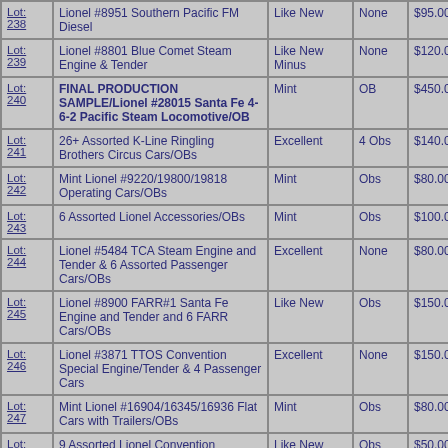| Lot | Description | Condition | Obs | Price |
| --- | --- | --- | --- | --- |
| Lot: 238 | Lionel #8951 Southern Pacific FM Diesel | Like New | None | $95.00 |
| Lot: 239 | Lionel #8801 Blue Comet Steam Engine & Tender | Like New Minus | None | $120.00 |
| Lot: 240 | FINAL PRODUCTION SAMPLE/Lionel #28015 Santa Fe 4-6-2 Pacific Steam Locomotive/OB | Mint | OB | $450.00 |
| Lot: 241 | 26+ Assorted K-Line Ringling Brothers Circus Cars/OBs | Excellent | 4 Obs | $140.00 |
| Lot: 242 | Mint Lionel #9220/19800/19818 Operating Cars/OBs | Mint | Obs | $80.00 |
| Lot: 243 | 6 Assorted Lionel Accessories/OBs | Mint | Obs | $100.00 |
| Lot: 244 | Lionel #5484 TCA Steam Engine and Tender & 6 Assorted Passenger Cars/OBs | Excellent | None | $80.00 |
| Lot: 245 | Lionel #8900 FARR#1 Santa Fe Engine and Tender and 6 FARR Cars/OBs | Like New | Obs | $150.00 |
| Lot: 246 | Lionel #3871 TTOS Convention Special Engine/Tender & 4 Passenger Cars | Excellent | None | $150.00 |
| Lot: 247 | Mint Lionel #16904/16345/16936 Flat Cars with Trailers/OBs | Mint | Obs | $80.00 |
| Lot: 248 | 9 Assorted Lionel Convention Cars/OBs | Like New | Obs | $50.00 |